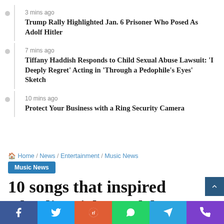3 mins ago — Trump Rally Highlighted Jan. 6 Prisoner Who Posed As Adolf Hitler
7 mins ago — Tiffany Haddish Responds to Child Sexual Abuse Lawsuit: 'I Deeply Regret' Acting in 'Through a Pedophile's Eyes' Sketch
10 mins ago — Protect Your Business with a Ring Security Camera
Home / News / Entertainment / Music News
Music News
10 songs that inspired Charlie Hickey's debut album 'Nervous…